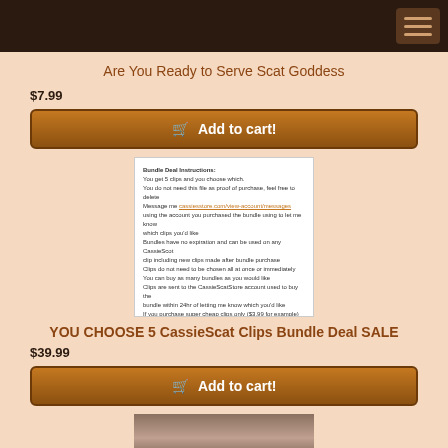Navigation header with menu button
Are You Ready to Serve Scat Goddess
$7.99
Add to cart!
[Figure (screenshot): Bundle Deal instructions document image showing text about choosing 5 clips, messaging account, bundle expiration policy, and clip delivery instructions]
YOU CHOOSE 5 CassieScat Clips Bundle Deal SALE
$39.99
Add to cart!
[Figure (photo): Video thumbnail showing a woman with red hair in a black top with red pattern, hands raised, standing in what appears to be a bathroom]